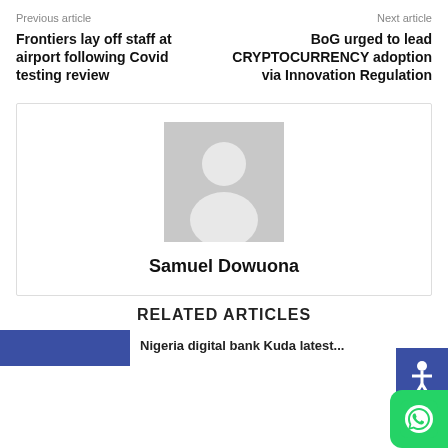Previous article
Next article
Frontiers lay off staff at airport following Covid testing review
BoG urged to lead CRYPTOCURRENCY adoption via Innovation Regulation
[Figure (photo): Default avatar placeholder image for author Samuel Dowuona]
Samuel Dowuona
RELATED ARTICLES
Nigeria digital bank Kuda latest...